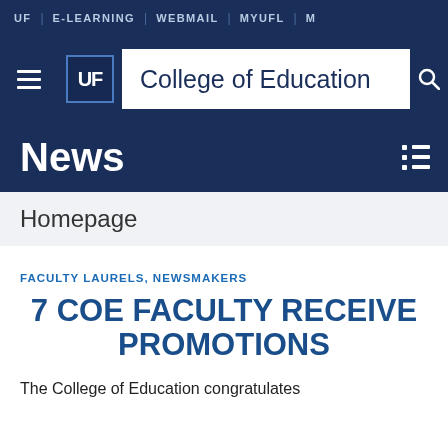UF | E-LEARNING | WEBMAIL | MYUFL | M
UF College of Education
News
Homepage
FACULTY LAURELS, NEWSMAKERS
7 COE FACULTY RECEIVE PROMOTIONS
The College of Education congratulates